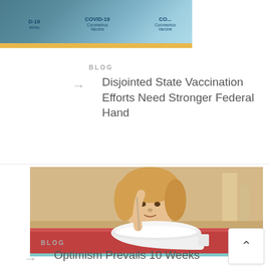[Figure (photo): COVID-19 Coronavirus Vaccine vials, teal/blue background with yellow bar at bottom]
BLOG
Disjointed State Vaccination Efforts Need Stronger Federal Hand
[Figure (photo): Young child eating from a white bowl at a red/pink table]
BLOG
Optimism Prevails 10 Weeks Into Reentering Our ...